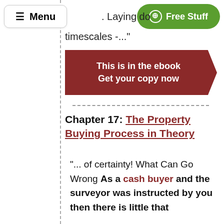[Figure (screenshot): Navigation bar with Menu button (hamburger icon) on left and green Free Stuff button on right]
Laying do
timescales -..."
[Figure (illustration): Dark red arrow-shaped banner with text: This is in the ebook Get your copy now]
Chapter 17: The Property Buying Process in Theory
"... of certainty! What Can Go Wrong As a cash buyer and the surveyor was instructed by you then there is little that